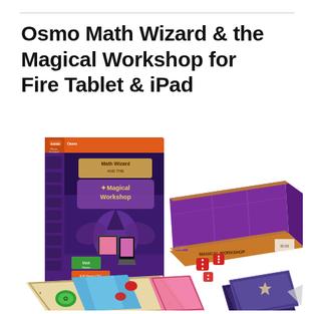Osmo Math Wizard & the Magical Workshop for Fire Tablet & iPad
[Figure (photo): Product photo of Osmo Math Wizard & the Magical Workshop game set, showing the retail box with purple and orange design featuring a wizard character, alongside the game components including a purple flat box labeled 'Magical Workshop', red dice, game tiles/boards in beige and blue, and dark purple cards with star pattern.]